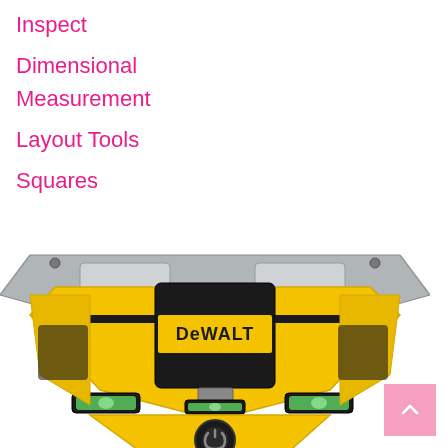Inspect
Dimensional Measurement
Layout Tools
Squares
[Figure (photo): DeWalt laser square tool, top-down view showing yellow and black housing with spirit levels, two adjustment knobs, DeWalt logo on black center panel, and a power button at the bottom center, mounted on a silver/gray metal base plate.]
[Figure (other): Pink back-to-top button with upward arrow in bottom right corner]